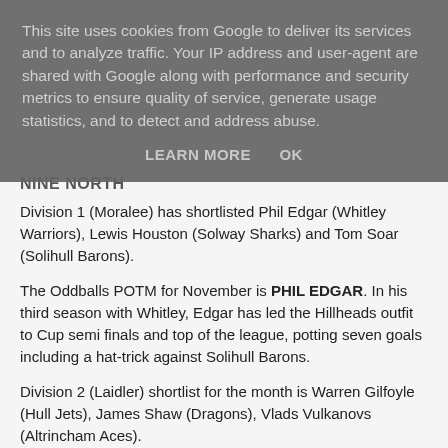This site uses cookies from Google to deliver its services and to analyze traffic. Your IP address and user-agent are shared with Google along with performance and security metrics to ensure quality of service, generate usage statistics, and to detect and address abuse.
LEARN MORE   OK
NINE NORTH
Division 1 (Moralee) has shortlisted Phil Edgar (Whitley Warriors), Lewis Houston (Solway Sharks) and Tom Soar (Solihull Barons).
The Oddballs POTM for November is PHIL EDGAR. In his third season with Whitley, Edgar has led the Hillheads outfit to Cup semi finals and top of the league, potting seven goals including a hat-trick against Solihull Barons.
Division 2 (Laidler) shortlist for the month is Warren Gilfoyle (Hull Jets), James Shaw (Dragons), Vlads Vulkanovs (Altrincham Aces).
The winner of the November award is VLADS VULKANOVS. The Latvian hit the net in all six games, totalling 13 goals